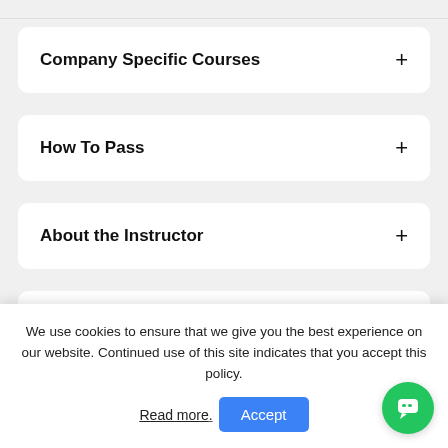Company Specific Courses
How To Pass
About the Instructor
Reviews (0)
We use cookies to ensure that we give you the best experience on our website. Continued use of this site indicates that you accept this policy.
Read more.
Accept